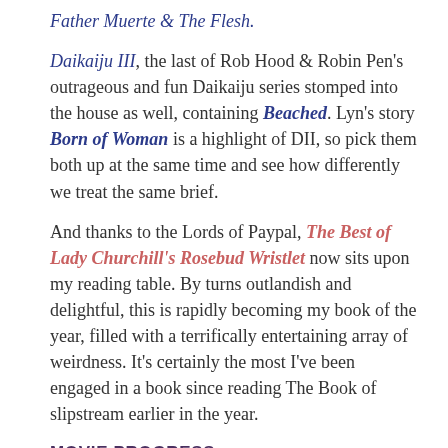Father Muerte & The Flesh.
Daikaiju III, the last of Rob Hood & Robin Pen's outrageous and fun Daikaiju series stomped into the house as well, containing Beached. Lyn's story Born of Woman is a highlight of DII, so pick them both up at the same time and see how differently we treat the same brief.
And thanks to the Lords of Paypal, The Best of Lady Churchill's Rosebud Wristlet now sits upon my reading table. By turns outlandish and delightful, this is rapidly becoming my book of the year, filled with a terrifically entertaining array of weirdness. It's certainly the most I've been engaged in a book since reading The Book of slipstream earlier in the year.
MOVIE PROGRESS